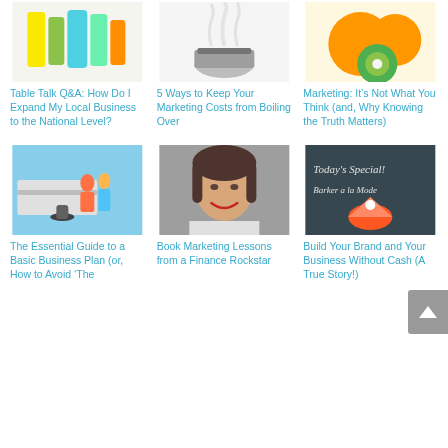[Figure (photo): Colorful product bottles/containers on white background]
[Figure (photo): Steam rising from a boiling pot on white background]
[Figure (photo): Orange, kiwi fruits on white background]
Table Talk Q&A: How Do I Expand My Local Business to the National Level?
5 Ways to Keep Your Marketing Costs from Boiling Over
Marketing: It’s Not What You Think (and, Why Knowing the Truth Matters)
[Figure (photo): Two women at a barbecue/outdoor scene]
[Figure (photo): Headshot portrait of a young woman smiling]
[Figure (photo): Chalkboard with Today's Special: Barker a la Mode and pie illustration]
The Essential Guide to a Basic Business Plan (or, How to Avoid ‘The
Book Marketing Lessons from a Finance Rockstar
Build Your Brand and Your Business Without Cash (A True Story!)